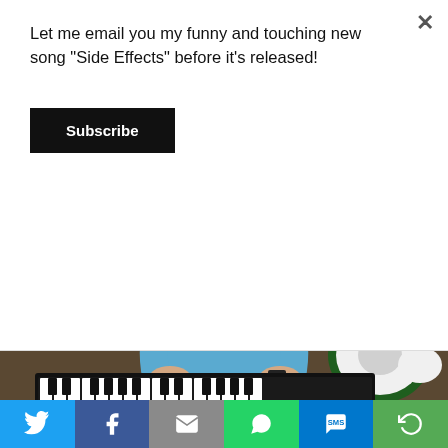Let me email you my funny and touching new song “Side Effects” before it’s released!
Subscribe
[Figure (photo): Man in blue t-shirt sitting at an electronic keyboard (Yamaha) in a music studio with a laptop, water bottle, and green drum kit visible in the background]
Jason Didner on electronic keyboard
[Figure (infographic): Social share bar with icons for Twitter, Facebook, Email, WhatsApp, SMS, and a share/rotate icon]